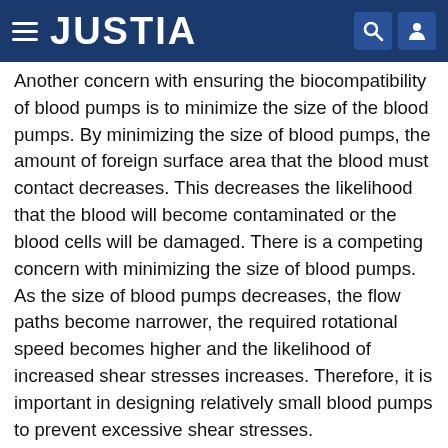JUSTIA
Another concern with ensuring the biocompatibility of blood pumps is to minimize the size of the blood pumps. By minimizing the size of blood pumps, the amount of foreign surface area that the blood must contact decreases. This decreases the likelihood that the blood will become contaminated or the blood cells will be damaged. There is a competing concern with minimizing the size of blood pumps. As the size of blood pumps decreases, the flow paths become narrower, the required rotational speed becomes higher and the likelihood of increased shear stresses increases. Therefore, it is important in designing relatively small blood pumps to prevent excessive shear stresses.
The blood pumps of the present invention provide for improvements in pumping blood. These features are related, inter alia, to the magnetic suspension of the